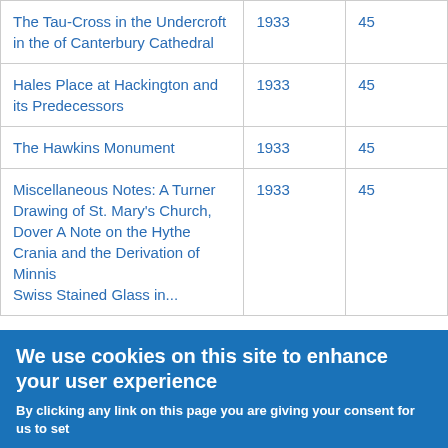| The Tau-Cross in the Undercroft in the of Canterbury Cathedral | 1933 | 45 |
| Hales Place at Hackington and its Predecessors | 1933 | 45 |
| The Hawkins Monument | 1933 | 45 |
| Miscellaneous Notes: A Turner Drawing of St. Mary's Church, Dover A Note on the Hythe Crania and the Derivation of Minnis Swiss Stained Glass in... | 1933 | 45 |
We use cookies on this site to enhance your user experience
By clicking any link on this page you are giving your consent for us to set